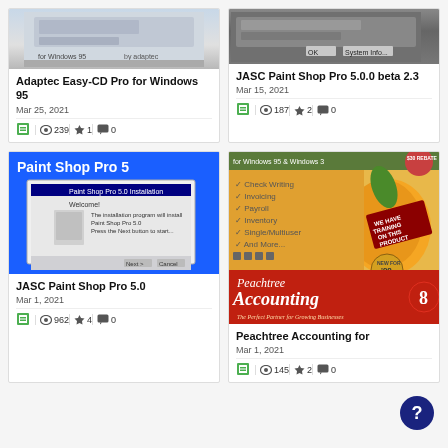[Figure (screenshot): Adaptec Easy-CD Pro for Windows 95 software screenshot]
Adaptec Easy-CD Pro for Windows 95
Mar 25, 2021
239  1  0
[Figure (screenshot): JASC Paint Shop Pro 5.0.0 beta 2.3 screenshot with OK and System Info buttons]
JASC Paint Shop Pro 5.0.0 beta 2.3
Mar 15, 2021
187  2  0
[Figure (photo): Paint Shop Pro 5 installation screenshot on blue background]
JASC Paint Shop Pro 5.0
Mar 1, 2021
962  4  0
[Figure (photo): Peachtree Accounting software box cover with orange/red design]
Peachtree Accounting for
Mar 1, 2021
145  2  0